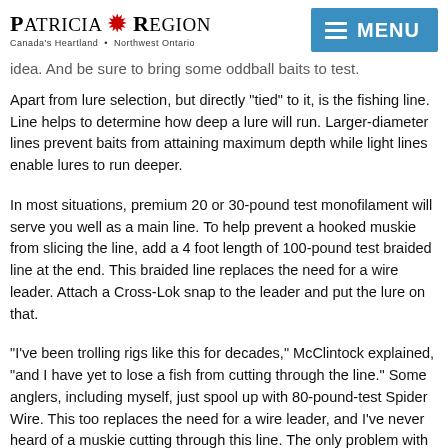Patricia Region — Canada's Heartland • Northwest Ontario
idea. And be sure to bring some oddball baits to test.
Apart from lure selection, but directly "tied" to it, is the fishing line. Line helps to determine how deep a lure will run. Larger-diameter lines prevent baits from attaining maximum depth while light lines enable lures to run deeper.
In most situations, premium 20 or 30-pound test monofilament will serve you well as a main line. To help prevent a hooked muskie from slicing the line, add a 4 foot length of 100-pound test braided line at the end. This braided line replaces the need for a wire leader. Attach a Cross-Lok snap to the leader and put the lure on that.
"I've been trolling rigs like this for decades," McClintock explained, "and I have yet to lose a fish from cutting through the line." Some anglers, including myself, just spool up with 80-pound-test Spider Wire. This too replaces the need for a wire leader, and I've never heard of a muskie cutting through this line. The only problem with this line is that spider wire is